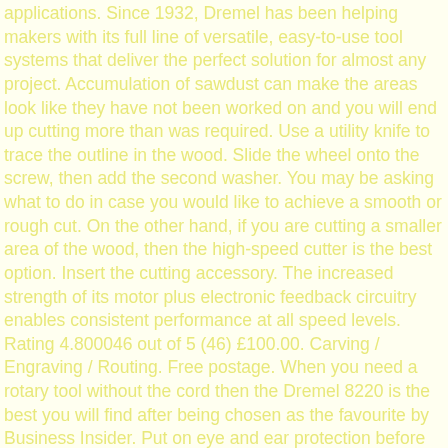applications. Since 1932, Dremel has been helping makers with its full line of versatile, easy-to-use tool systems that deliver the perfect solution for almost any project. Accumulation of sawdust can make the areas look like they have not been worked on and you will end up cutting more than was required. Use a utility knife to trace the outline in the wood. Slide the wheel onto the screw, then add the second washer. You may be asking what to do in case you would like to achieve a smooth or rough cut. On the other hand, if you are cutting a smaller area of the wood, then the high-speed cutter is the best option. Insert the cutting accessory. The increased strength of its motor plus electronic feedback circuitry enables consistent performance at all speed levels. Rating 4.800046 out of 5 (46) £100.00. Carving / Engraving / Routing. Free postage. When you need a rotary tool without the cord then the Dremel 8220 is the best you will find after being chosen as the favourite by Business Insider. Put on eye and ear protection before you start cutting. The ability to use all existing Dremel rotary tool accessories and most attachments let the 3000 complete a wide range of applications including cutting, grinding, sanding, carving and polishing a variety of materials. The carbide bits are more durable and will last you for a while. Your email address will not be published. Because you will need to clamp the wood, you can have a workbench and clamp for this. 5 out of 5 stars (46) 46 product ratings - DREMEL SC544 EZ SpeedClic Wood Cutting Wheel SC544 Dremel 544 Dremel X 2. Gently touch the Dremel to the